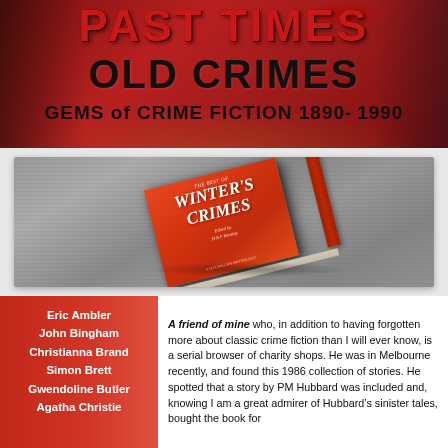[Figure (illustration): Banner header with red background showing 'PAST TIMES OLD CRIMES - GEMS of CRIME FICTION 1890-1990' with vintage figures on either side]
[Figure (photo): Photograph of a red book titled 'The Best of Winter's Crimes' lying on a grey concrete surface]
Eric Ambler
John Bingham
Christianna Brand
Simon Brett
Gwendoline Butler
Agatha Christie
A friend of mine who, in addition to having forgotten more about classic crime fiction than I will ever know, is a serial browser of charity shops. He was in Melbourne recently, and found this 1986 collection of stories. He spotted that a story by PM Hubbard was included and, knowing I am a great admirer of Hubbard's sinister tales, bought the book for